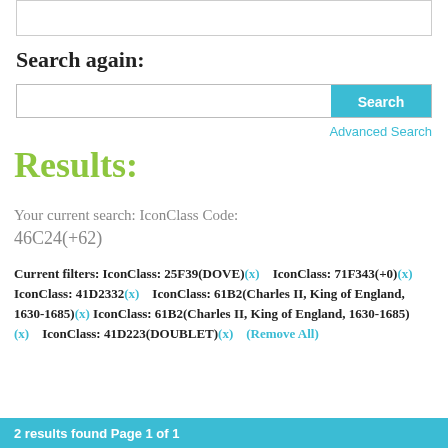[Figure (screenshot): Top portion of a search input box (cut off at top of page)]
Search again:
[Figure (screenshot): Search input field with Search button]
Advanced Search
Results:
Your current search: IconClass Code: 46C24(+62)
Current filters: IconClass: 25F39(DOVE)(x)   IconClass: 71F343(+0)(x)   IconClass: 41D2332(x)   IconClass: 61B2(Charles II, King of England, 1630-1685)(x)   IconClass: 61B2(Charles II, King of England, 1630-1685)(x)   IconClass: 41D223(DOUBLET)(x)   (Remove All)
2 results found Page 1 of 1